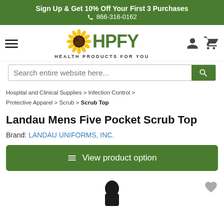Sign Up & Get 10% Off Your First 3 Purchases
📞 866-316-0162
[Figure (logo): HPFY Health Products For You logo with sunflower icon, hamburger menu on left, user and cart icons on right]
Search entire website here...
Hospital and Clinical Supplies > Infection Control > Protective Apparel > Scrub > Scrub Top
Landau Mens Five Pocket Scrub Top
Brand: LANDAU UNIFORMS, INC.
View product option